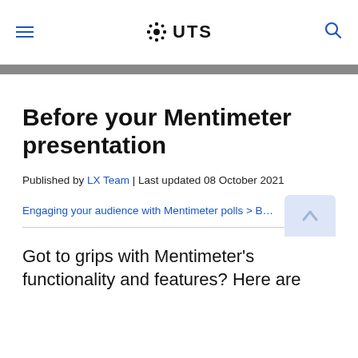UTS
Before your Mentimeter presentation
Published by LX Team | Last updated 08 October 2021
Engaging your audience with Mentimeter polls > Bef...
Got to grips with Mentimeter's functionality and features? Here are